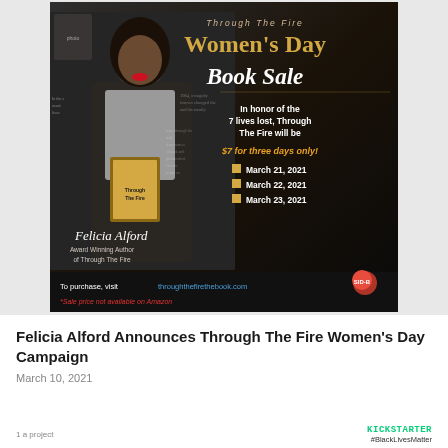[Figure (illustration): Promotional advertisement image for 'Through The Fire Women's Day Book Sale' featuring author Felicia Alford. Dark background with woman holding a book. Text announces book sale at $7 for three days: March 21, 22, and 23, 2021. Bottom text says 'To purchase, visit throughthefirethebook.com' with disclaimer '*Sale price not available on Amazon'. Publisher logo SID-B shown.]
Felicia Alford Announces Through The Fire Women's Day Campaign
March 10, 2021
1 a project
KICKSTARTER #BlackLivesMatter